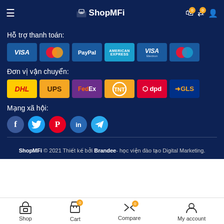ShopMFi
Hỗ trợ thanh toán:
[Figure (logo): Payment method logos: VISA, Mastercard, PayPal, American Express, VISA Electron, Maestro]
Đơn vị vận chuyển:
[Figure (logo): Shipping provider logos: DHL, UPS, FedEx, TNT, dpd, GLS]
Mạng xã hội:
[Figure (infographic): Social media icons: Facebook, Twitter, Pinterest, LinkedIn, Telegram]
ShopMFi © 2021 Thiết kế bởi Brandee- học viện đào tạo Digital Marketing.
Shop | Cart 0 | Compare 0 | My account